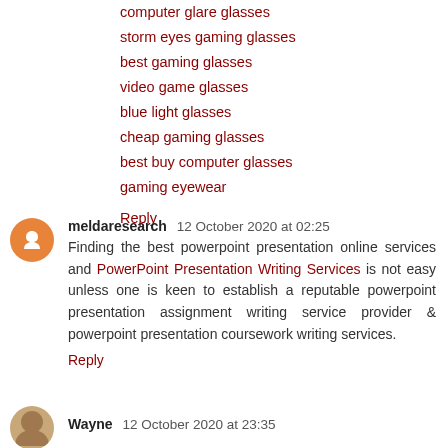computer glare glasses
storm eyes gaming glasses
best gaming glasses
video game glasses
blue light glasses
cheap gaming glasses
best buy computer glasses
gaming eyewear
Reply
meldaresearch  12 October 2020 at 02:25
Finding the best powerpoint presentation online services and PowerPoint Presentation Writing Services is not easy unless one is keen to establish a reputable powerpoint presentation assignment writing service provider & powerpoint presentation coursework writing services.
Reply
Wayne  12 October 2020 at 23:35